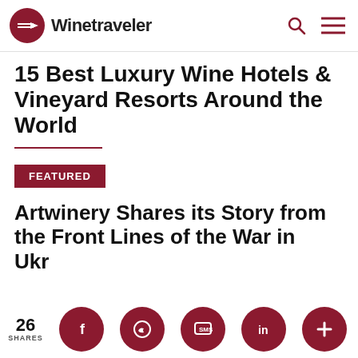Winetraveler
15 Best Luxury Wine Hotels & Vineyard Resorts Around the World
FEATURED
Artwinery Shares its Story from the Front Lines of the War in Ukraine
26 SHARES